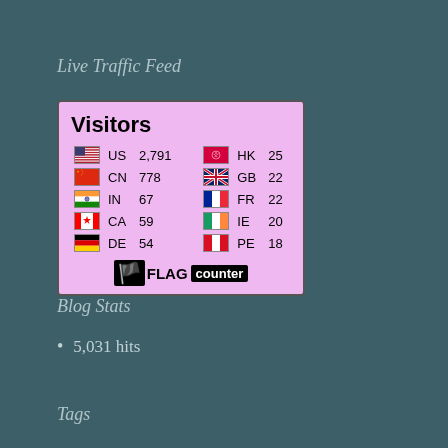Live Traffic Feed
[Figure (infographic): Flag Counter widget showing visitor counts by country. Visitors: US 2,791 | HK 25 | CN 778 | GB 22 | IN 67 | FR 22 | CA 59 | IE 20 | DE 54 | PE 18. Powered by FLAG counter.]
Blog Stats
5,031 hits
Tags